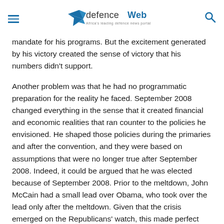defenceWeb — Africa's leading defence news portal
mandate for his programs. But the excitement generated by his victory created the sense of victory that his numbers didn't support.
Another problem was that he had no programmatic preparation for the reality he faced. September 2008 changed everything in the sense that it created financial and economic realities that ran counter to the policies he envisioned. He shaped those policies during the primaries and after the convention, and they were based on assumptions that were no longer true after September 2008. Indeed, it could be argued that he was elected because of September 2008. Prior to the meltdown, John McCain had a small lead over Obama, who took over the lead only after the meltdown. Given that the crisis emerged on the Republicans' watch, this made perfect sense. But